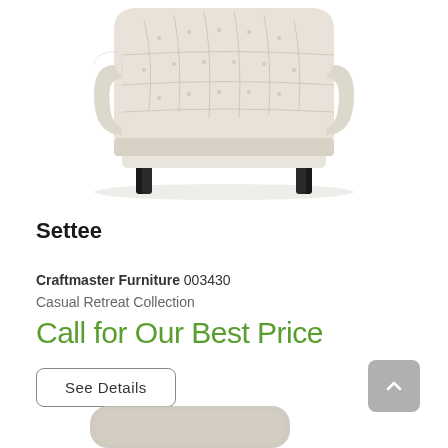[Figure (photo): A cream/ivory tufted settee (loveseat) with rolled arms and dark tapered wooden legs, photographed on a white background.]
Settee
Craftmaster Furniture 003430
Casual Retreat Collection
Call for Our Best Price
See Details
[Figure (photo): Partial view of another furniture piece at the bottom of the page.]